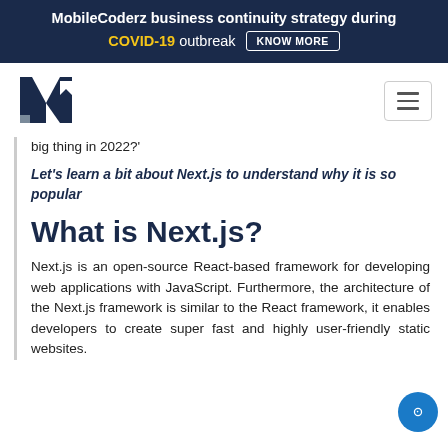MobileCoderz business continuity strategy during COVID-19 outbreak  KNOW MORE
[Figure (logo): MobileCoderz logo — stylized MC monogram in dark navy blue]
big thing in 2022?'
Let's learn a bit about Next.js to understand why it is so popular
What is Next.js?
Next.js is an open-source React-based framework for developing web applications with JavaScript. Furthermore, the architecture of the Next.js framework is similar to the React framework, it enables developers to create super fast and highly user-friendly static websites.